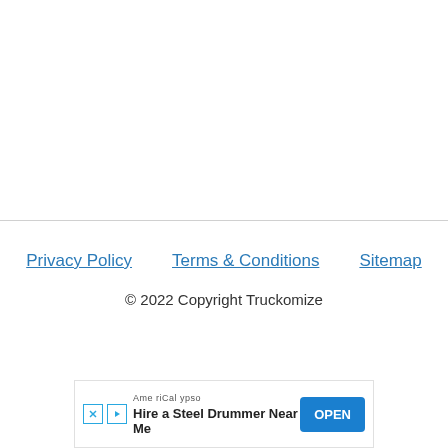Privacy Policy   Terms & Conditions   Sitemap
© 2022 Copyright Truckomize
[Figure (other): Advertisement banner: AmeriCalypso – Hire a Steel Drummer Near Me, with OPEN button]